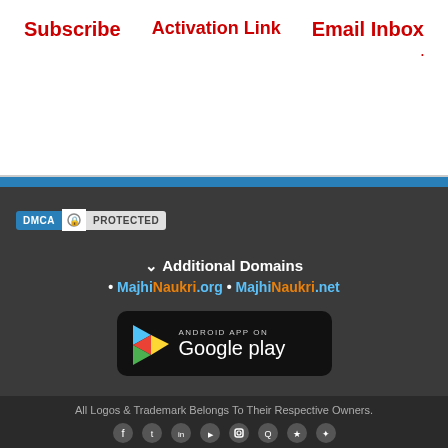Subscribe
Activation Link
Email Inbox
[Figure (logo): DMCA Protected badge with blue background and lock icon]
Additional Domains
• MajhiNaukri.org • MajhiNaukri.net
[Figure (logo): Android App on Google Play button with play icon on dark background]
All Logos & Trademark Belongs To Their Respective Owners.
[Figure (other): Social media icons row: Facebook, Twitter, LinkedIn, YouTube, Instagram, and others]